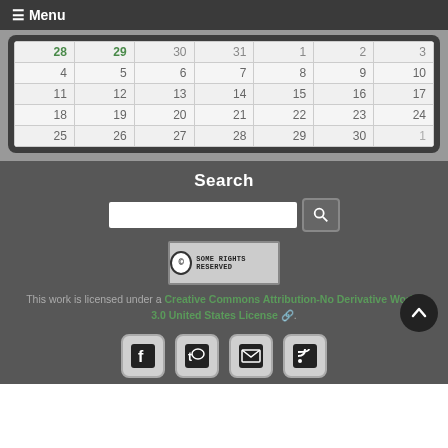☰ Menu
| 28 | 29 | 30 | 31 | 1 | 2 | 3 |
| 4 | 5 | 6 | 7 | 8 | 9 | 10 |
| 11 | 12 | 13 | 14 | 15 | 16 | 17 |
| 18 | 19 | 20 | 21 | 22 | 23 | 24 |
| 25 | 26 | 27 | 28 | 29 | 30 | 1 |
Search
[Figure (other): Creative Commons Some Rights Reserved badge]
This work is licensed under a Creative Commons Attribution-No Derivative Works 3.0 United States License.
[Figure (other): Social media icons: Facebook, Twitter, Email, RSS]